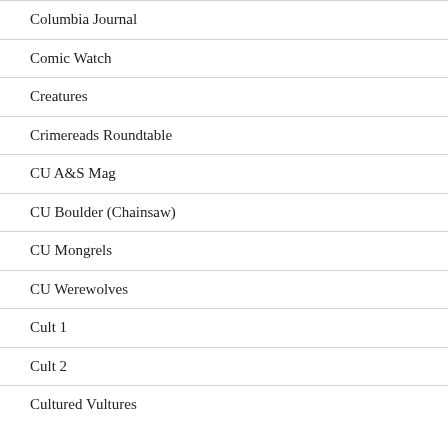Columbia Journal
Comic Watch
Creatures
Crimereads Roundtable
CU A&S Mag
CU Boulder (Chainsaw)
CU Mongrels
CU Werewolves
Cult 1
Cult 2
Cultured Vultures